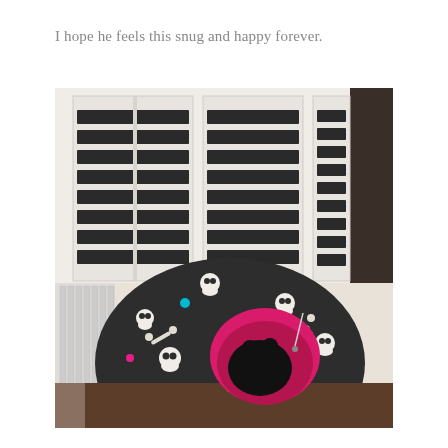I hope he feels this snug and happy forever.
[Figure (photo): A black cat curled inside a dome-shaped cat bed with a dark grey fabric covered in white skull-and-crossbones and colorful dot patterns, with a bright pink interior lining. The bed sits on a dark wooden surface in front of white plantation shutters and a white radiator.]